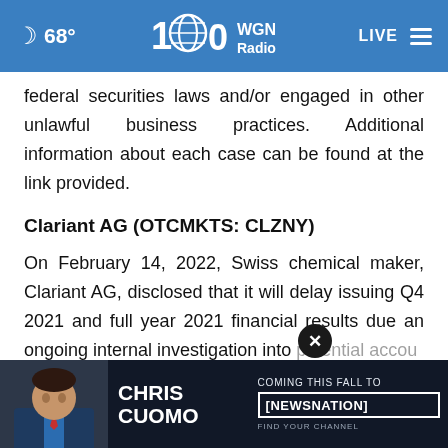68° WGN Radio 100 LIVE
federal securities laws and/or engaged in other unlawful business practices. Additional information about each case can be found at the link provided.
Clariant AG (OTCMKTS: CLZNY)
On February 14, 2022, Swiss chemical maker, Clariant AG, disclosed that it will delay issuing Q4 2021 and full year 2021 financial results due an ongoing internal investigation into potential accou...
[Figure (screenshot): Chris Cuomo advertisement banner - Coming This Fall To NewsNation. Find Your Channel.]